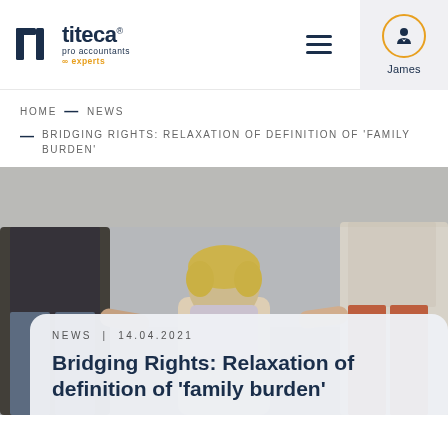titeca pro accountants experts — navigation header with hamburger menu and James user account
HOME — NEWS
BRIDGING RIGHTS: RELAXATION OF DEFINITION OF 'FAMILY BURDEN'
[Figure (photo): Back view of two adults holding hands with a young blonde child between them, standing outdoors on pavement.]
NEWS | 14.04.2021
Bridging Rights: Relaxation of definition of 'family burden'